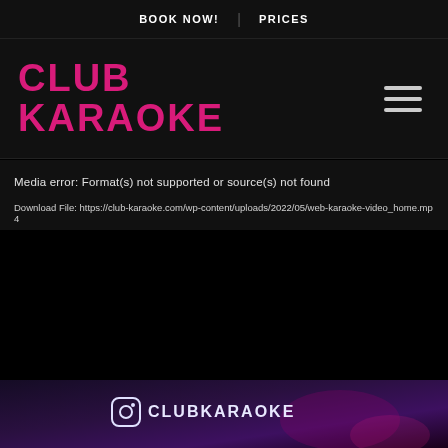BOOK NOW! | PRICES
CLUB KARAOKE
Media error: Format(s) not supported or source(s) not found
Download File: https://club-karaoke.com/wp-content/uploads/2022/05/web-karaoke-video_home.mp4
[Figure (screenshot): Dark/black video placeholder area with media error message for Club Karaoke website]
[Figure (photo): Bottom strip showing Instagram profile image for CLUBKARAOKE with neon lighting and performers in background]